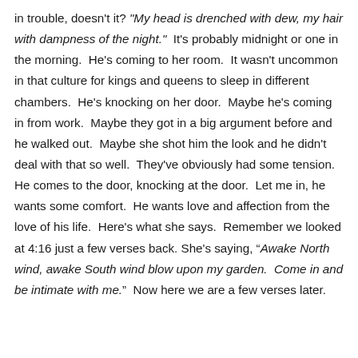in trouble, doesn't it? "My head is drenched with dew, my hair with dampness of the night."  It's probably midnight or one in the morning.  He's coming to her room.  It wasn't uncommon in that culture for kings and queens to sleep in different chambers.  He's knocking on her door.  Maybe he's coming in from work.  Maybe they got in a big argument before and he walked out.  Maybe she shot him the look and he didn't deal with that so well.  They've obviously had some tension.  He comes to the door, knocking at the door.  Let me in, he wants some comfort.  He wants love and affection from the love of his life.  Here's what she says.  Remember we looked at 4:16 just a few verses back. She's saying, "Awake North wind, awake South wind blow upon my garden.  Come in and be intimate with me."  Now here we are a few verses later.